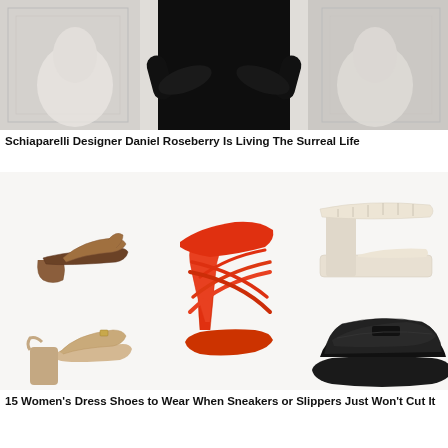[Figure (photo): Fashion photo of a person in black standing in front of white classical sculptural backdrop. Only the torso visible, arms crossed.]
Schiaparelli Designer Daniel Roseberry Is Living The Surreal Life
[Figure (photo): Collage of five women's dress shoes: brown mule heel, cream platform sandal, orange strappy stiletto sandal, tan slingback heel, black chunky loafer.]
15 Women's Dress Shoes to Wear When Sneakers or Slippers Just Won't Cut It